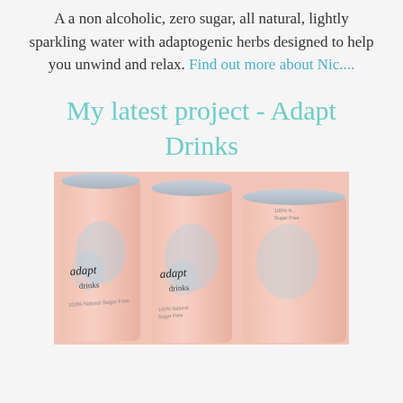A a non alcoholic, zero sugar, all natural, lightly sparkling water with adaptogenic herbs designed to help you unwind and relax. Find out more about Nic....
My latest project - Adapt Drinks
[Figure (photo): Three pink/peach cans of 'adapt drinks' arranged side by side with blue watercolor blobs on labels, photographed on a soft pink background]